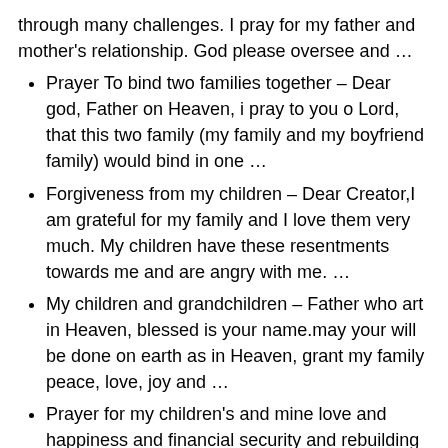through many challenges. I pray for my father and mother's relationship. God please oversee and …
Prayer To bind two families together – Dear god, Father on Heaven, i pray to you o Lord, that this two family (my family and my boyfriend family) would bind in one …
Forgiveness from my children – Dear Creator,I am grateful for my family and I love them very much. My children have these resentments towards me and are angry with me. …
My children and grandchildren – Father who art in Heaven, blessed is your name.may your will be done on earth as in Heaven, grant my family peace, love, joy and …
Prayer for my children's and mine love and happiness and financial security and rebuilding of our family unit better then it ever was. – Dear Lord,Please heal my family, and my self. Heal my husband from his infidelity and return him to his family and me his wife that …
Prayer for my family – In St. Jude & Jesus Pray my daughter